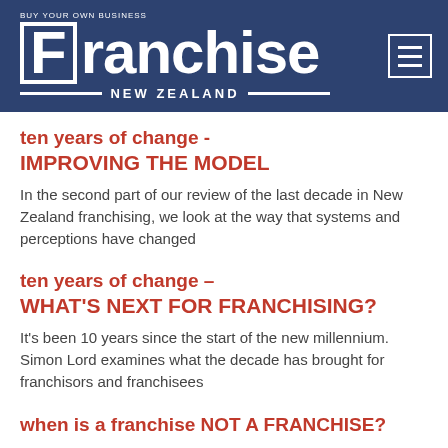[Figure (logo): Franchise New Zealand magazine header logo on dark blue background with hamburger menu icon]
ten years of change -
IMPROVING THE MODEL
In the second part of our review of the last decade in New Zealand franchising, we look at the way that systems and perceptions have changed
ten years of change –
WHAT'S NEXT FOR FRANCHISING?
It's been 10 years since the start of the new millennium. Simon Lord examines what the decade has brought for franchisors and franchisees
when is a franchise NOT A FRANCHISE?